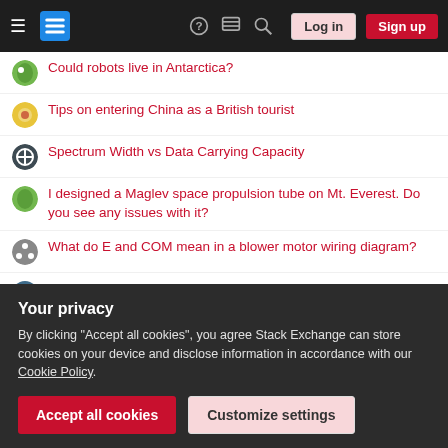Stack Exchange navigation bar with hamburger menu, logo, help, chat, search icons, Log in and Sign up buttons
Could robots live in Antarctica?
Tips on entering China as a British tourist
Spectrum Width vs Data Carrying Capacity
I designed a Maglev space propulsion tube on Mt. Everest. Do you see any issues with it?
What do E and COM mean in a blower motor wiring diagram?
On the derivation of confidence intervals for hypothesis testing
What is the purpose of not having jury trials for juveniles?
Is this natural? "Nous nous avons rompu". To say we broke up
PhD salary (research assistant) did not increase during summer while
Your privacy
By clicking "Accept all cookies", you agree Stack Exchange can store cookies on your device and disclose information in accordance with our Cookie Policy.
What is the true meaning of the unit `kB` in `/proc/meminfo`?